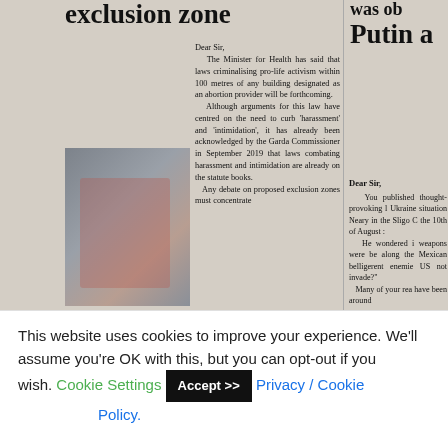[Figure (photo): Scanned newspaper page showing two columns of letters to the editor. Left column discusses a proposed abortion exclusion zone law. Right column partially visible discusses Ukraine situation and Putin. A blurred photo of a person is in the lower left of the left column. The top of the page shows partial headlines: 'exclusion zone' on the left and 'was ob Putin a' on the right.]
Dear Sir,

The Minister for Health has said that laws criminalising pro-life activism within 100 metres of any building designated as an abortion provider will be forthcoming.

Although arguments for this law have centred on the need to curb 'harassment' and 'intimidation', it has already been acknowledged by the Garda Commissioner in September 2019 that laws combating harassment and intimidation are already on the statute books.

Any debate on proposed exclusion zones must concentrate
Dear Sir,

You published thought-provoking l Ukraine situation Neary in the Sligo C the 10th of August :

He wondered i weapons were be along the Mexican belligerent enemies US not invade?"

Many of your rea have been around
This website uses cookies to improve your experience. We'll assume you're OK with this, but you can opt-out if you wish. Cookie Settings Accept >> Privacy / Cookie Policy.